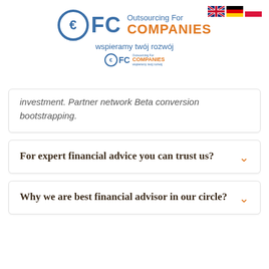[Figure (logo): OFC Outsourcing For Companies logo with Euro symbol, blue and orange colors, tagline 'wspieramy twój rozwój', with smaller version below, and UK/Germany/Poland flags in top right]
investment. Partner network Beta conversion bootstrapping.
For expert financial advice you can trust us?
Why we are best financial advisor in our circle?